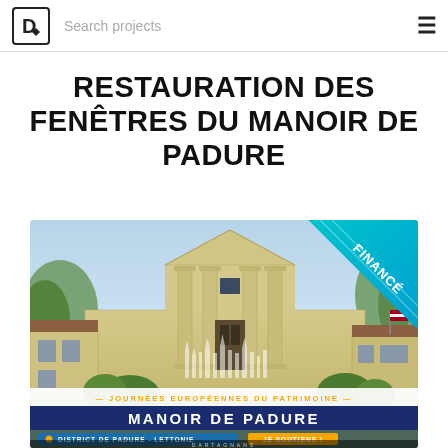D  Search projects
RESTAURATION DES FENÊTRES DU MANOIR DE PADURE
[Figure (photo): Photograph of the Manoir de Padure, a neoclassical manor with columns and a triangular pediment. Overlaid with a 'FINANCÉ' badge in the upper right corner (teal/cyan diagonal ribbon), and bottom overlay panels reading 'JOURNÉES EUROPÉENNES DU PATRIMOINE', 'MANOIR DE PADURE', 'DISTRICT DE PADURE - LETTONIE', and a 'JE SOUTIENS!' button. Dartagnans logo watermark at bottom.]